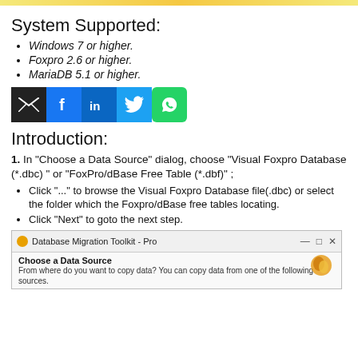System Supported:
Windows 7 or higher.
Foxpro 2.6 or higher.
MariaDB 5.1 or higher.
[Figure (infographic): Social media share icons: email (black), Facebook (blue), LinkedIn (blue), Twitter (blue), WhatsApp (green)]
Introduction:
1. In "Choose a Data Source" dialog, choose "Visual Foxpro Database (*.dbc) " or "FoxPro/dBase Free Table (*.dbf)" ;
Click "..." to browse the Visual Foxpro Database file(.dbc) or select the folder which the Foxpro/dBase free tables locating.
Click "Next" to goto the next step.
[Figure (screenshot): Screenshot of Database Migration Toolkit - Pro dialog showing 'Choose a Data Source' panel with description text and a toolkit logo icon.]